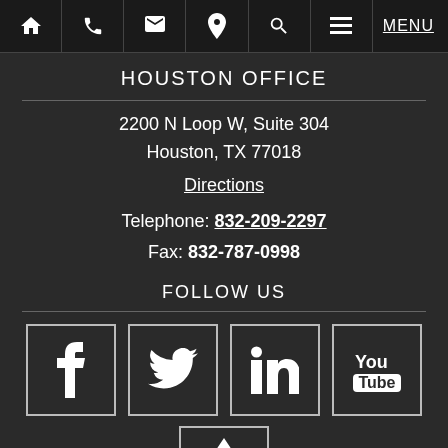[Figure (screenshot): Navigation bar with home, phone, email, location, search, menu icons and MENU text]
HOUSTON OFFICE
2200 N Loop W, Suite 304
Houston, TX 77018
Directions
Telephone: 832-209-2297
Fax: 832-787-0998
FOLLOW US
[Figure (illustration): Social media icons: Facebook, Twitter, LinkedIn, YouTube, and a partially visible icon at the bottom]